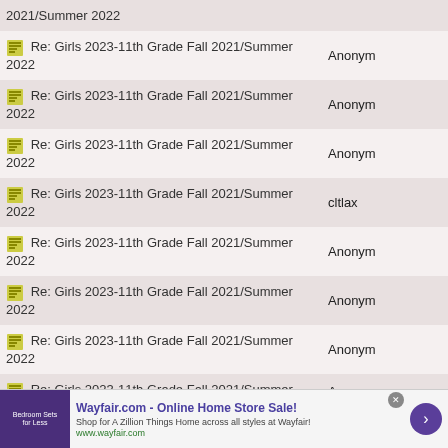| Topic | Author |
| --- | --- |
| 2021/Summer 2022 |  |
| Re: Girls 2023-11th Grade Fall 2021/Summer 2022 | Anonym |
| Re: Girls 2023-11th Grade Fall 2021/Summer 2022 | Anonym |
| Re: Girls 2023-11th Grade Fall 2021/Summer 2022 | Anonym |
| Re: Girls 2023-11th Grade Fall 2021/Summer 2022 | cltlax |
| Re: Girls 2023-11th Grade Fall 2021/Summer 2022 | Anonym |
| Re: Girls 2023-11th Grade Fall 2021/Summer 2022 | Anonym |
| Re: Girls 2023-11th Grade Fall 2021/Summer 2022 | Anonym |
| Re: Girls 2023-11th Grade Fall 2021/Summer 2022 | Anonym |
[Figure (infographic): Wayfair.com advertisement banner with text 'Online Home Store Sale!' and purple bedroom sets image]